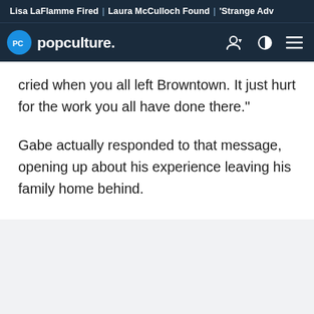Lisa LaFlamme Fired | Laura McCulloch Found | 'Strange Adv
popculture.
cried when you all left Browntown. It just hurt for the work you all have done there."
Gabe actually responded to that message, opening up about his experience leaving his family home behind.